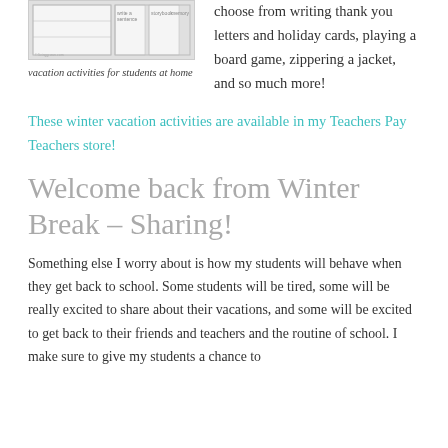[Figure (other): Thumbnail image of vacation activities worksheet for students at home]
vacation activities for students at home
choose from writing thank you letters and holiday cards, playing a board game, zippering a jacket, and so much more!
These winter vacation activities are available in my Teachers Pay Teachers store!
Welcome back from Winter Break – Sharing!
Something else I worry about is how my students will behave when they get back to school. Some students will be tired, some will be really excited to share about their vacations, and some will be excited to get back to their friends and teachers and the routine of school. I make sure to give my students a chance to